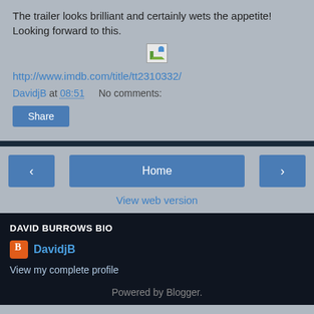The trailer looks brilliant and certainly wets the appetite! Looking forward to this.
[Figure (other): Broken/placeholder image thumbnail]
http://www.imdb.com/title/tt2310332/
DavidjB at 08:51    No comments:
Share
Home
View web version
DAVID BURROWS BIO
DavidjB
View my complete profile
Powered by Blogger.